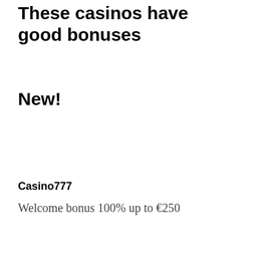These casinos have good bonuses
New!
Casino777
Welcome bonus 100% up to €250